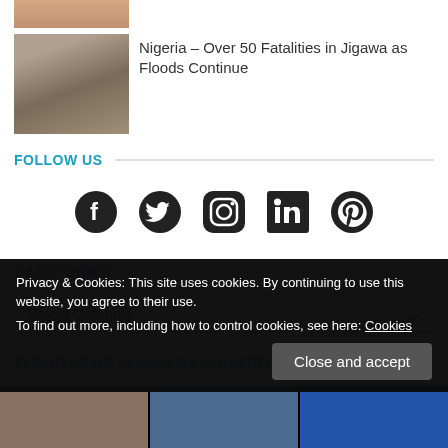[Figure (photo): Partial thumbnail image at top, skin-toned content]
Nigeria – Over 50 Fatalities in Jigawa as Floods Continue
[Figure (photo): Flood damage photo showing destroyed building/rubble]
FOLLOW US
[Figure (infographic): Social media icons: Facebook, Twitter, Instagram, LinkedIn, Pinterest]
CATEGORIES
Select Category
FLOOD NEWS IN ASIA BY COUNTRY
Privacy & Cookies: This site uses cookies. By continuing to use this website, you agree to their use.
To find out more, including how to control cookies, see here: Cookies
Close and accept